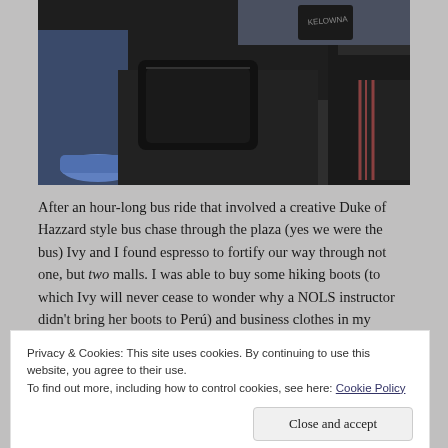[Figure (photo): Interior of a crowded bus, shot from a low angle showing passengers' legs, bags, and feet on a dark floor. Denim jeans, sneakers, and black bags are visible.]
After an hour-long bus ride that involved a creative Duke of Hazzard style bus chase through the plaza (yes we were the bus) Ivy and I found espresso to fortify our way through not one, but two malls. I was able to buy some hiking boots (to which Ivy will never cease to wonder why a NOLS instructor didn't bring her boots to Perú) and business clothes in my
Privacy & Cookies: This site uses cookies. By continuing to use this website, you agree to their use.
To find out more, including how to control cookies, see here: Cookie Policy
Close and accept
[Figure (photo): Partial view of another image below the cookie banner, showing colorful illustration elements.]